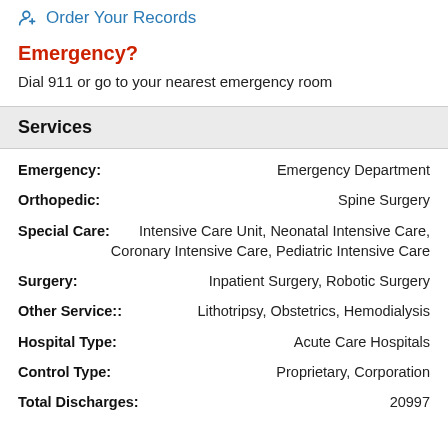Order Your Records
Emergency?
Dial 911 or go to your nearest emergency room
Services
| Service Type | Details |
| --- | --- |
| Emergency: | Emergency Department |
| Orthopedic: | Spine Surgery |
| Special Care: | Intensive Care Unit, Neonatal Intensive Care, Coronary Intensive Care, Pediatric Intensive Care |
| Surgery: | Inpatient Surgery, Robotic Surgery |
| Other Service:: | Lithotripsy, Obstetrics, Hemodialysis |
| Hospital Type: | Acute Care Hospitals |
| Control Type: | Proprietary, Corporation |
| Total Discharges: | 20997 |